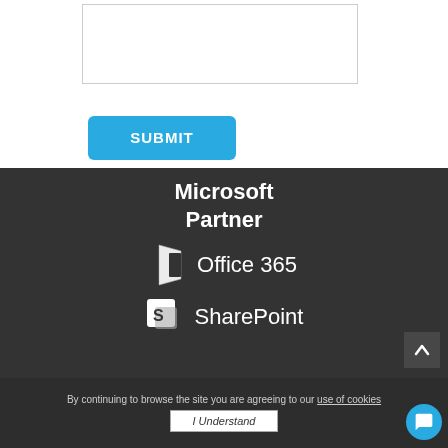[Figure (screenshot): A text input box (form field) with a border, partially visible on white background]
[Figure (screenshot): A blue rounded-rectangle 'SUBMIT' button]
[Figure (logo): Microsoft Partner text in white on dark gray background]
[Figure (logo): Office 365 logo with icon in white on dark gray background]
[Figure (logo): SharePoint logo with icon in white on dark gray background]
By continuing to browse the site you are agreeing to our use of cookies
[Figure (screenshot): I Understand button in white with italic text]